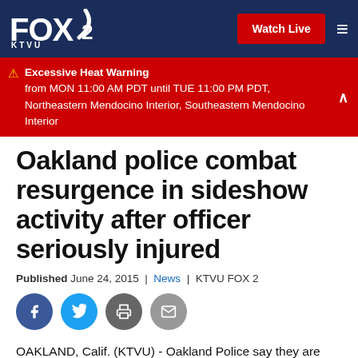FOX 2 KTVU | Watch Live
⚠ Excessive Heat Warning from MON 11:00 AM PDT until TUE 11:00 PM PDT, Northeastern Mendocino Interior, Southeastern Mendocino Interior
Oakland police combat resurgence in sideshow activity after officer seriously injured
Published June 24, 2015 | News | KTVU FOX 2
[Figure (other): Social sharing buttons: Facebook, Twitter, Print, Email]
OAKLAND, Calif. (KTVU) - Oakland Police say they are stepping up enforcement patrols and staffing to try to